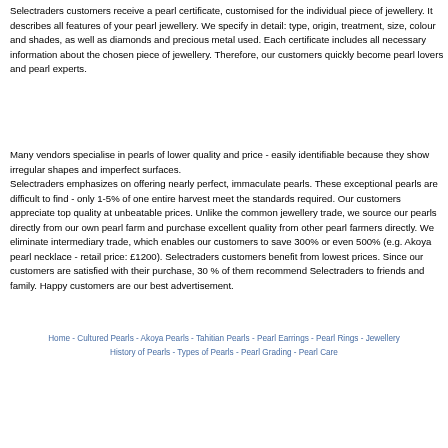Selectraders customers receive a pearl certificate, customised for the individual piece of jewellery. It describes all features of your pearl jewellery. We specify in detail: type, origin, treatment, size, colour and shades, as well as diamonds and precious metal used. Each certificte includes all necessary information about the chosen piece of jewellery. Therefore, our customers quickly become pearl lovers and pearl experts.
Many vendors specialise in pearls of lower quality and price - easily identifiable because they show irregular shapes and imperfect surfaces. Selectraders emphasizes on offering nearly perfect, immaculate pearls. These exceptional pearls are difficult to find - only 1-5% of one entire harvest meet the standards required. Our customers appreciate top quality at unbeatable prices. Unlike the common jewellery trade, we source our pearls directly from our own pearl farm and purchase excellent quality from other pearl farmers directly. We eliminate intermediary trade, which enables our customers to save 300% or even 500% (e.g. Akoya pearl necklace - retail price: £1200). Selectraders customers benefit from lowest prices. Since our customers are satisfied with their purchase, 30 % of them recommend Selectraders to friends and family. Happy customers are our best advertisement.
Home - Cultured Pearls - Akoya Pearls - Tahitian Pearls - Pearl Earrings - Pearl Rings - Jewellery History of Pearls - Types of Pearls - Pearl Grading - Pearl Care